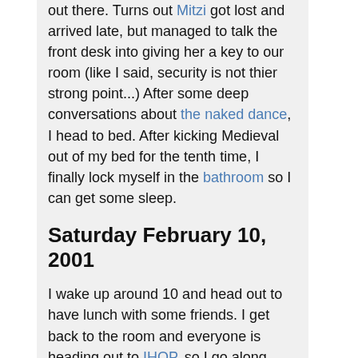out there. Turns out Mitzi got lost and arrived late, but managed to talk the front desk into giving her a key to our room (like I said, security is not thier strong point...) After some deep conversations about the naked dance, I head to bed. After kicking Medieval out of my bed for the tenth time, I finally lock myself in the bathroom so I can get some sleep.
Saturday February 10, 2001
I wake up around 10 and head out to have lunch with some friends. I get back to the room and everyone is heading out to IHOP, so I go along. What the hell